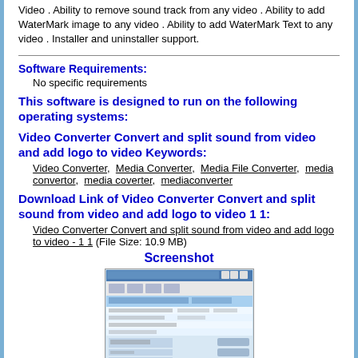Video . Ability to remove sound track from any video . Ability to add WaterMark image to any video . Ability to add WaterMark Text to any video . Installer and uninstaller support.
Software Requirements:
No specific requirements
This software is designed to run on the following operating systems:
Video Converter Convert and split sound from video and add logo to video Keywords:
Video Converter, Media Converter, Media File Converter, media convertor, media coverter, mediaconverter
Download Link of Video Converter Convert and split sound from video and add logo to video 1 1:
Video Converter Convert and split sound from video and add logo to video - 1 1 (File Size: 10.9 MB)
Screenshot
[Figure (screenshot): Screenshot of Video Converter application showing the main interface window with toolbar and file list panels]
Full Screenshot